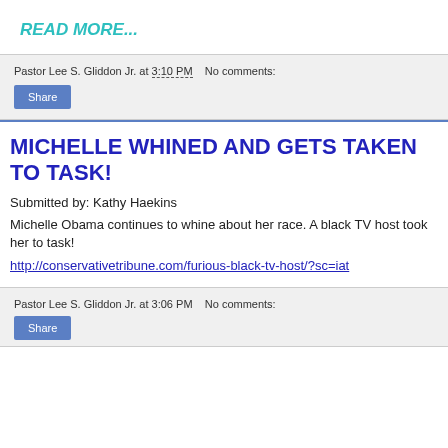READ MORE...
Pastor Lee S. Gliddon Jr. at 3:10 PM   No comments:
Share
MICHELLE WHINED AND GETS TAKEN TO TASK!
Submitted by: Kathy Haekins
Michelle Obama continues to whine about her race. A black TV host took her to task!
http://conservativetribune.com/furious-black-tv-host/?sc=iat
Pastor Lee S. Gliddon Jr. at 3:06 PM   No comments:
Share